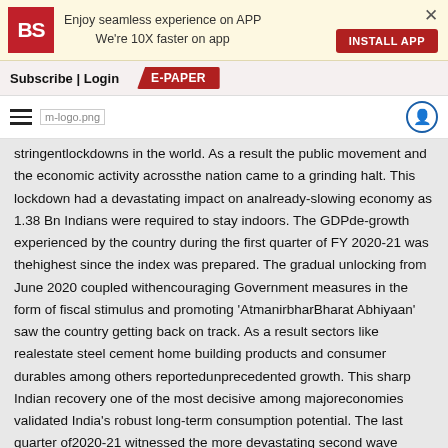Enjoy seamless experience on APP
We're 10X faster on app
INSTALL APP
Subscribe | Login  E-PAPER
m-logo.png
stringentlockdowns in the world. As a result the public movement and the economic activity acrossthe nation came to a grinding halt. This lockdown had a devastating impact on analready-slowing economy as 1.38 Bn Indians were required to stay indoors. The GDPde-growth experienced by the country during the first quarter of FY 2020-21 was thehighest since the index was prepared. The gradual unlocking from June 2020 coupled withencouraging Government measures in the form of fiscal stimulus and promoting 'AtmanirbharBharat Abhiyaan' saw the country getting back on track. As a result sectors like realestate steel cement home building products and consumer durables among others reportedunprecedented growth. This sharp Indian recovery one of the most decisive among majoreconomies validated India's robust long-term consumption potential. The last quarter of2020-21 witnessed the more devastating second wave which once again halted the overallmomentum. The consolidated impact led to India's GDP contracting to 7.3% during 2020-21.